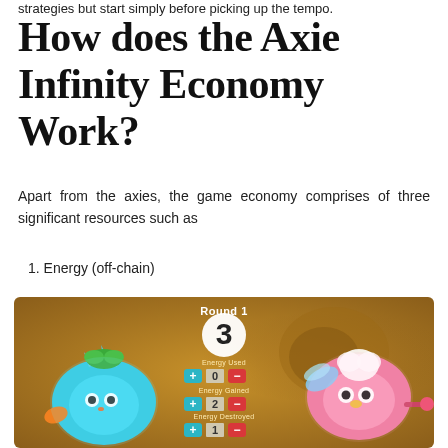strategies but start simply before picking up the tempo.
How does the Axie Infinity Economy Work?
Apart from the axies, the game economy comprises of three significant resources such as
1. Energy (off-chain)
[Figure (screenshot): Axie Infinity game screenshot showing Round 1 with energy counters: Energy Used: 0, Energy Gained: 2, Energy Destroyed: 1, with End Turn and Reset buttons. Two axie characters visible on left (blue) and right (pink).]